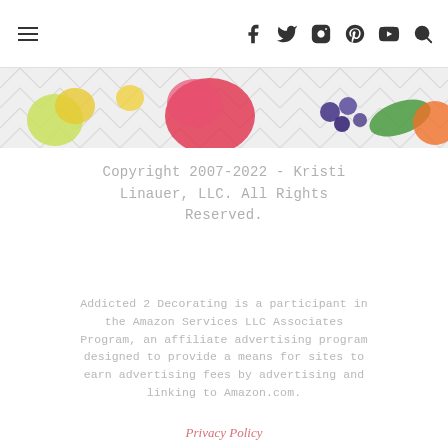☰  [social icons: facebook, twitter, instagram, pinterest, youtube, search]
[Figure (illustration): Decorative banner with watercolor fruits and flowers on a chevron patterned background]
Copyright 2007-2022 - Kristi Linauer, LLC. All Rights Reserved.
Addicted 2 Decorating is a participant in the Amazon Services LLC Associates Program, an affiliate advertising program designed to provide a means for sites to earn advertising fees by advertising and linking to Amazon.com.
Privacy Policy